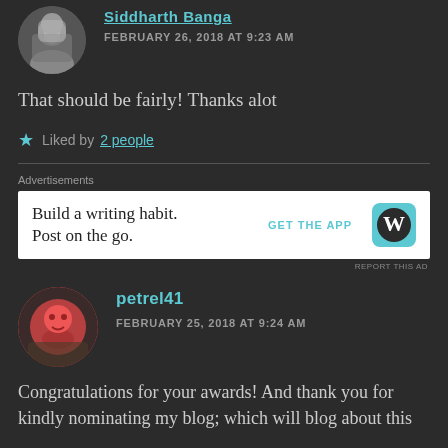Siddharth Banga
FEBRUARY 26, 2018 AT 9:23 AM
That should be fairly! Thanks alot
Liked by 2 people
Advertisements
[Figure (other): WordPress advertisement banner: 'Build a writing habit. Post on the go.' with GET THE APP link and WordPress logo]
REPORT THIS AD
petrel41
FEBRUARY 25, 2018 AT 9:24 AM
Congratulations for your awards! And thank you for kindly nominating my blog; which will blog about this